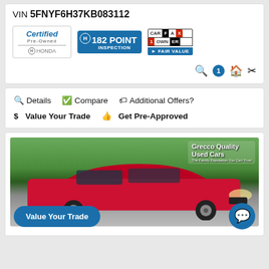VIN 5FNYF6H37KB083112
[Figure (infographic): Certified Pre-Owned Honda badge, 182 Point Inspection Honda badge, CARFAX 1-Owner Fair Value badge with icons]
Details
Compare
Additional Offers?
Value Your Trade
Get Pre-Approved
[Figure (photo): Photo of red Honda HR-V at Grecco Quality Used Cars dealership, with Value Your Trade and chat overlay buttons]